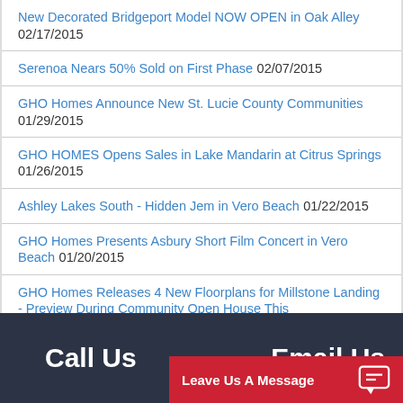New Decorated Bridgeport Model NOW OPEN in Oak Alley 02/17/2015
Serenoa Nears 50% Sold on First Phase 02/07/2015
GHO Homes Announce New St. Lucie County Communities 01/29/2015
GHO HOMES Opens Sales in Lake Mandarin at Citrus Springs 01/26/2015
Ashley Lakes South - Hidden Jem in Vero Beach 01/22/2015
GHO Homes Presents Asbury Short Film Concert in Vero Beach 01/20/2015
GHO Homes Releases 4 New Floorplans for Millstone Landing - Preview During Community Open House This
Call Us   Email Us   Leave Us A Message